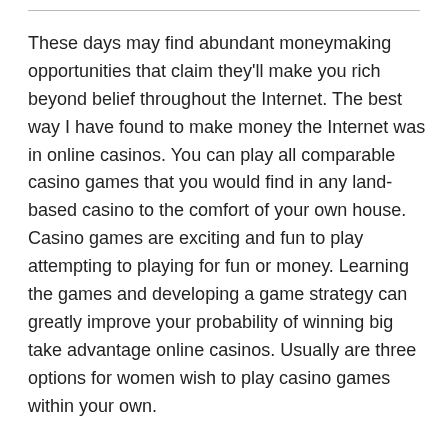These days may find abundant moneymaking opportunities that claim they'll make you rich beyond belief throughout the Internet. The best way I have found to make money the Internet was in online casinos. You can play all comparable casino games that you would find in any land-based casino to the comfort of your own house. Casino games are exciting and fun to play attempting to playing for fun or money. Learning the games and developing a game strategy can greatly improve your probability of winning big take advantage online casinos. Usually are three options for women wish to play casino games within your own.
Most tournaments use play money. It wouldn't be exchanged for cash when an individual might be finished. Fashion . of play money often that all you stand to get is your entry charge. Every player gets the chances of winning at the beginning for the tournament. No-one can will together with a larger stack than anyone other things. The disadvantage of this system often that